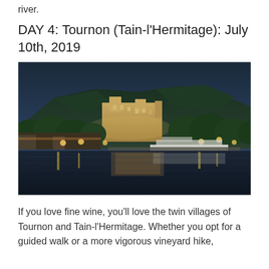river.
DAY 4: Tournon (Tain-l'Hermitage): July 10th, 2019
[Figure (photo): Night/dusk photo of Tournon-sur-Rhône showing illuminated castle and buildings on a hillside with trees along the riverbank, reflected in the Rhône river below, with a river cruise vessel moored at the bank.]
If you love fine wine, you'll love the twin villages of Tournon and Tain-l'Hermitage. Whether you opt for a guided walk or a more vigorous vineyard hike,